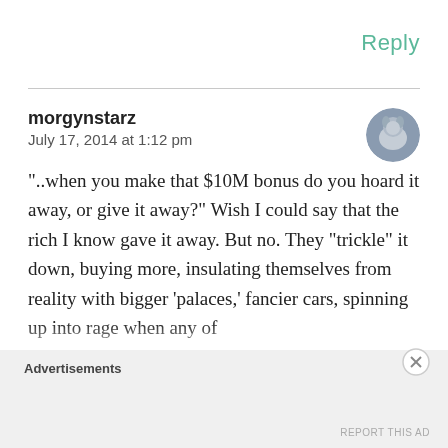Reply
morgynstarz
July 17, 2014 at 1:12 pm
“..when you make that $10M bonus do you hoard it away, or give it away?” Wish I could say that the rich I know gave it away. But no. They “trickle” it down, buying more, insulating themselves from reality with bigger ‘palaces,’ fancier cars, spinning up into rage when any of
Advertisements